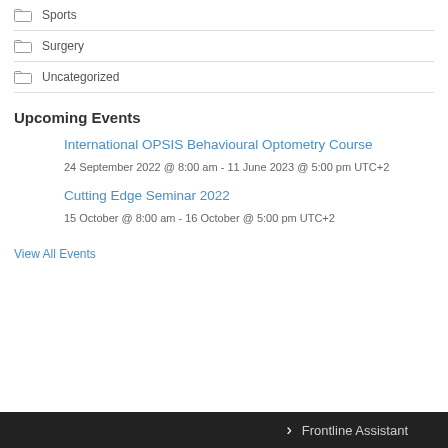Sports
Surgery
Uncategorized
Upcoming Events
International OPSIS Behavioural Optometry Course
24 September 2022 @ 8:00 am - 11 June 2023 @ 5:00 pm UTC+2
Cutting Edge Seminar 2022
15 October @ 8:00 am - 16 October @ 5:00 pm UTC+2
View All Events
Frontline Assistant